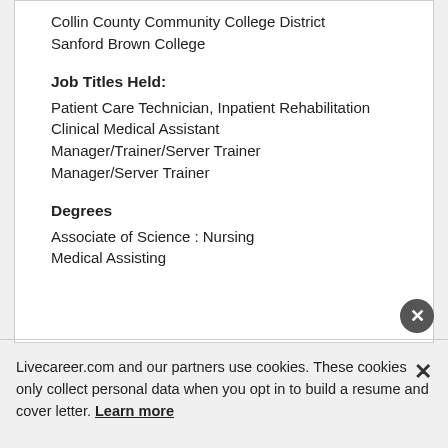Collin County Community College District
Sanford Brown College
Job Titles Held:
Patient Care Technician, Inpatient Rehabilitation
Clinical Medical Assistant
Manager/Trainer/Server Trainer
Manager/Server Trainer
Degrees
Associate of Science : Nursing
Medical Assisting
Livecareer.com and our partners use cookies. These cookies only collect personal data when you opt in to build a resume and cover letter. Learn more